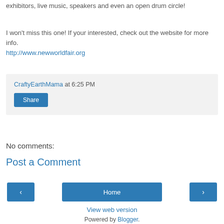exhibitors, live music, speakers and even an open drum circle!
I won't miss this one! If your interested, check out the website for more info.
http://www.newworldfair.org
CraftyEarthMama at 6:25 PM
Share
No comments:
Post a Comment
‹
Home
›
View web version
Powered by Blogger.